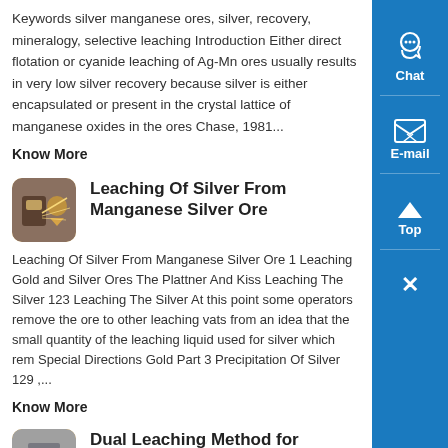Keywords silver manganese ores, silver, recovery, mineralogy, selective leaching Introduction Either direct flotation or cyanide leaching of Ag-Mn ores usually results in very low silver recovery because silver is either encapsulated or present in the crystal lattice of manganese oxides in the ores Chase, 1981...
Know More
[Figure (photo): Small thumbnail image of industrial/mining equipment with sparks or lights]
Leaching Of Silver From Manganese Silver Ore
Leaching Of Silver From Manganese Silver Ore 1 Leaching Gold and Silver Ores The Plattner And Kiss Leaching The Silver 123 Leaching The Silver At this point some operators remove the ore to other leaching vats from an idea that the small quantity of the leaching liquid used for silver which rem Special Directions Gold Part 3 Precipitation Of Silver 129 ,...
Know More
[Figure (photo): Small thumbnail image of metallic/industrial material]
Dual Leaching Method for Recovering